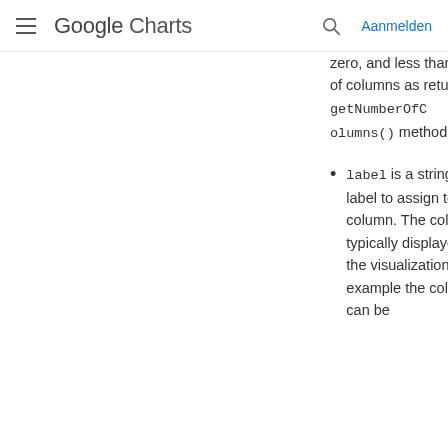Google Charts — Aanmelden
zero, and less than the number of columns as returned by the getNumberOfColumns() method.
label is a string with the label to assign to the column. The column label is typically displayed as part of the visualization. For example the column label can be